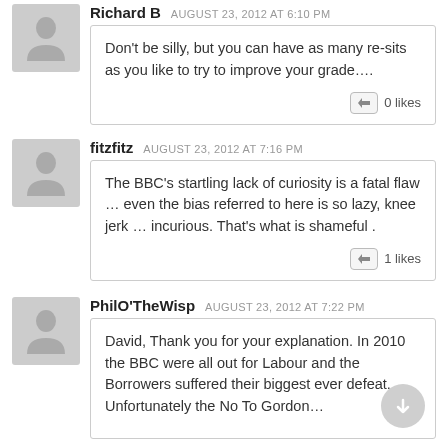Richard B  AUGUST 23, 2012 AT 6:10 PM
Don't be silly, but you can have as many re-sits as you like to try to improve your grade….
0 likes
fitzfitz  AUGUST 23, 2012 AT 7:16 PM
The BBC's startling lack of curiosity is a fatal flaw … even the bias referred to here is so lazy, knee jerk … incurious. That's what is shameful .
1 likes
PhilO'TheWisp  AUGUST 23, 2012 AT 7:22 PM
David, Thank you for your explanation. In 2010 the BBC were all out for Labour and the Borrowers suffered their biggest ever defeat. Unfortunately the No To Gordon…